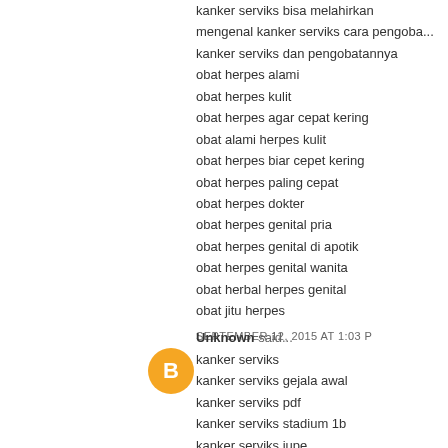kanker serviks bisa melahirkan
mengenal kanker serviks cara pengobatan
kanker serviks dan pengobatannya
obat herpes alami
obat herpes kulit
obat herpes agar cepat kering
obat alami herpes kulit
obat herpes biar cepet kering
obat herpes paling cepat
obat herpes dokter
obat herpes genital pria
obat herpes genital di apotik
obat herpes genital wanita
obat herbal herpes genital
obat jitu herpes
SEPTEMBER 12, 2015 AT 1:03 P
Unknown said...
kanker serviks
kanker serviks gejala awal
kanker serviks pdf
kanker serviks stadium 1b
kanker serviks jupe
kanker serviks stadium 3
kanker serviks stadium 3b